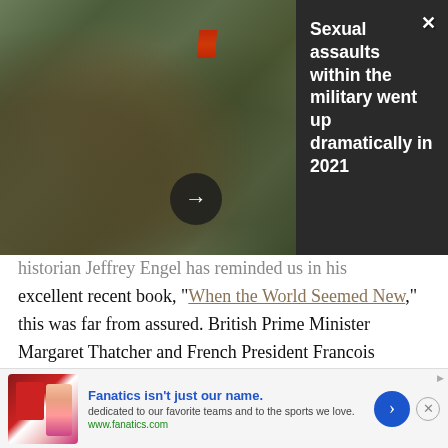[Figure (photo): Military soldiers in camouflage uniforms gathered together, with a red flag visible in the background]
Sexual assaults within the military went up dramatically in 2021
historian Jeffrey Engel has reminded us in his excellent recent book, “When the World Seemed New,” this was far from assured. British Prime Minister Margaret Thatcher and French President Francois Mitterand were deeply opposed to Germany’s unification, while Soviet leader Mikhail Gorbachev opposed not only unification but the incorporation of the former East Germany into NATO. Germany’s
[Figure (other): Advertisement for Fanatics: shows sports clothing items. Text reads: Fanatics isn't just our name. dedicated to our favorite teams and to the sports we love. www.fanatics.com]